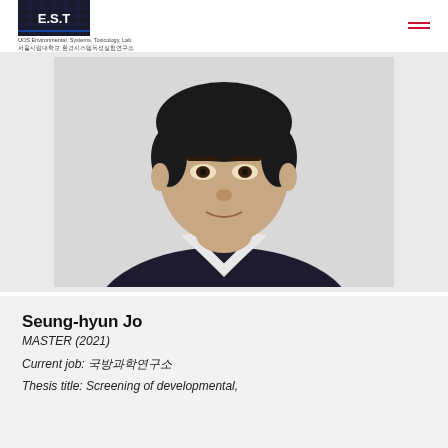E.S.T — UOS Environmental, Systems, Toxicology, Lab
[Figure (photo): Headshot photo of Seung-hyun Jo, a young man wearing a dark navy V-neck sweater with white trim over a collared shirt, with short dark hair, posed against a white background.]
Seung-hyun Jo
MASTER (2021)
Current job: 국방과학연구소
Thesis title: Screening of developmental,